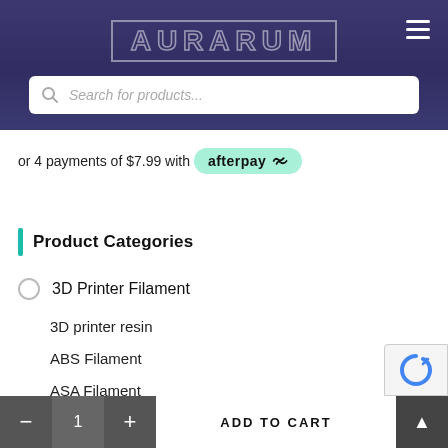AURARUM
[Figure (screenshot): Search bar with placeholder text 'Search for products...' and a magnifying glass icon, on a dark purple header background]
or 4 payments of $7.99 with afterpay
Product Categories
3D Printer Filament
3D printer resin
ABS Filament
ASA Filament
Bulk Spools
- 1 + ADD TO CART